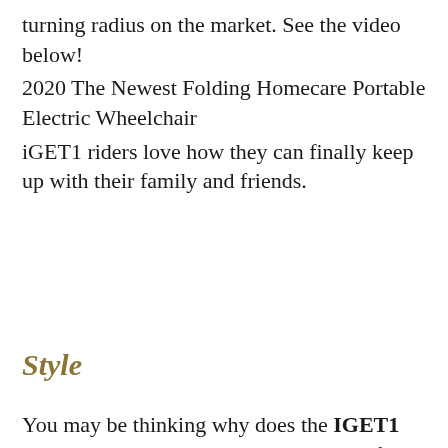turning radius on the market. See the video below!
2020 The Newest Folding Homecare Portable Electric Wheelchair
iGET1 riders love how they can finally keep up with their family and friends.
Style
You may be thinking why does the IGET1 electric wheelchair look like something from outer space?